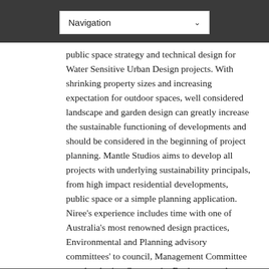Navigation
public space strategy and technical design for Water Sensitive Urban Design projects. With shrinking property sizes and increasing expectation for outdoor spaces, well considered landscape and garden design can greatly increase the sustainable functioning of developments and should be considered in the beginning of project planning. Mantle Studios aims to develop all projects with underlying sustainability principals, from high impact residential developments, public space or a simple planning application.  Niree’s experience includes time with one of Australia’s most renowned design practices, Environmental and Planning advisory committees’ to council, Management Committee to a developing Community Environmental Center in the Yarra Ranges